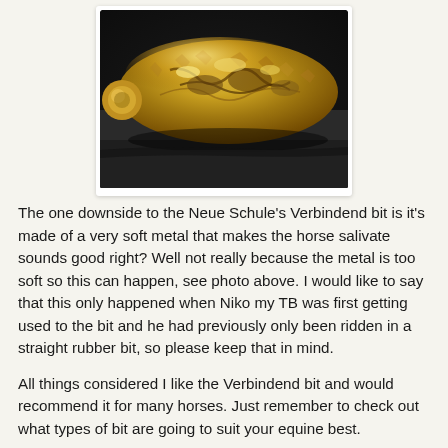[Figure (photo): Close-up photo of a golden-coloured horse bit (Neue Schule Verbindend) showing surface damage and wear marks on the soft metal, with rough textured areas visible.]
The one downside to the Neue Schule's Verbindend bit is it's made of a very soft metal that makes the horse salivate sounds good right? Well not really because the metal is too soft so this can happen, see photo above. I would like to say that this only happened when Niko my TB was first getting used to the bit and he had previously only been ridden in a straight rubber bit, so please keep that in mind.
All things considered I like the Verbindend bit and would recommend it for many horses. Just remember to check out what types of bit are going to suit your equine best.